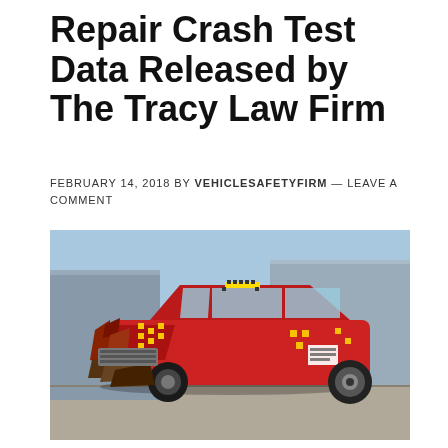Repair Crash Test Data Released by The Tracy Law Firm
FEBRUARY 14, 2018 by VEHICLESAFETYFIRM — LEAVE A COMMENT
[Figure (photo): A red compact car with severe front-end crash damage photographed at a crash test facility. The vehicle has crumple zones visible, yellow and black measurement markers on the body panels, and significant structural deformation to the front and hood area. The car is parked on a concrete surface with a metal building structure visible in the background.]